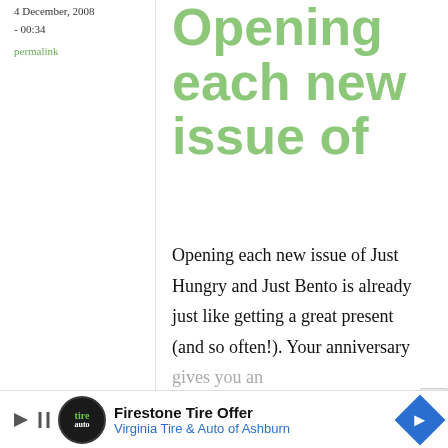4 December, 2008
- 00:34
permalink
Opening each new issue of
Opening each new issue of Just Hungry and Just Bento is already just like getting a great present (and so often!). Your anniversary gives you an
[Figure (infographic): Advertisement banner for Firestone Tire Offer - Virginia Tire & Auto of Ashburn with play button, logo, and navigation arrow icon]